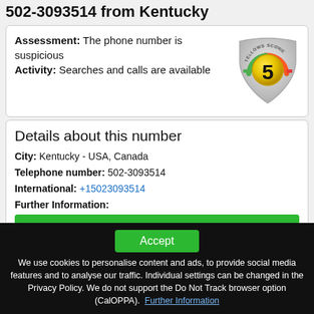502-3093514 from Kentucky
Assessment: The phone number is suspicious
Activity: Searches and calls are available
[Figure (illustration): Tellows Score shield badge showing score of 5, with green to red gradient arc]
Details about this number
City: Kentucky - USA, Canada
Telephone number: 502-3093514
International: +15023093514
Further Information:
Find out
Accept
We use cookies to personalise content and ads, to provide social media features and to analyse our traffic. Individual settings can be changed in the Privacy Policy. We do not support the Do Not Track browser option (CalOPPA). Further Information